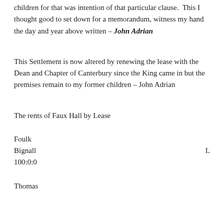children for that was intention of that particular clause.  This I thought good to set down for a memorandum, witness my hand the day and year above written – John Adrian
This Settlement is now altered by renewing the lease with the Dean and Chapter of Canterbury since the King came in but the premises remain to my former children – John Adrian
The rents of Faux Hall by Lease
Foulk
Bignall                                                                    L
100:0:0
Thomas